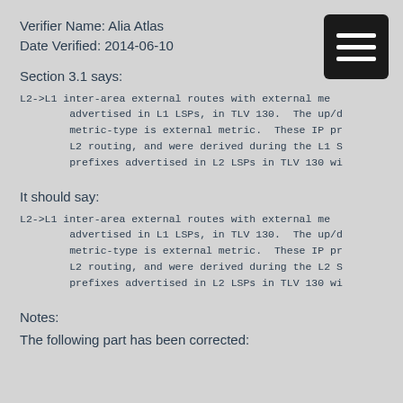Verifier Name: Alia Atlas
Date Verified: 2014-06-10
[Figure (other): Hamburger menu icon - black square with three white horizontal lines]
Section 3.1 says:
L2->L1 inter-area external routes with external me
        advertised in L1 LSPs, in TLV 130.  The up/d
        metric-type is external metric.  These IP pr
        L2 routing, and were derived during the L1 S
        prefixes advertised in L2 LSPs in TLV 130 wi
It should say:
L2->L1 inter-area external routes with external me
        advertised in L1 LSPs, in TLV 130.  The up/d
        metric-type is external metric.  These IP pr
        L2 routing, and were derived during the L2 S
        prefixes advertised in L2 LSPs in TLV 130 wi
Notes:
The following part has been corrected: